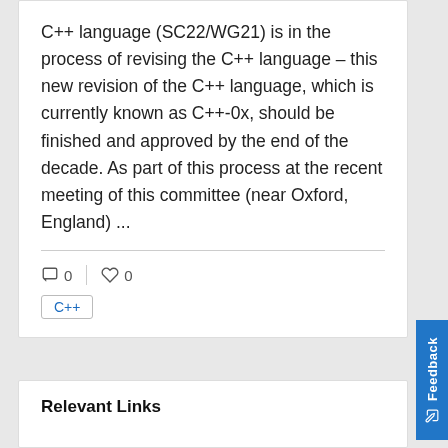C++ language (SC22/WG21) is in the process of revising the C++ language – this new revision of the C++ language, which is currently known as C++-0x, should be finished and approved by the end of the decade. As part of this process at the recent meeting of this committee (near Oxford, England) ...
□ 0  ♡ 0
C++
Relevant Links